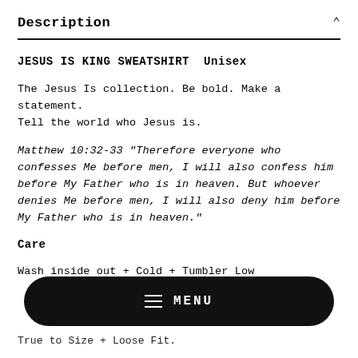Description
JESUS IS KING SWEATSHIRT  Unisex
The Jesus Is collection. Be bold. Make a statement. Tell the world who Jesus is.
Matthew 10:32-33 "Therefore everyone who confesses Me before men, I will also confess him before My Father who is in heaven. But whoever denies Me before men, I will also deny him before My Father who is in heaven."
Care
Wash inside out + Cold + Tumbler Low
True to Size + Loose Fit.